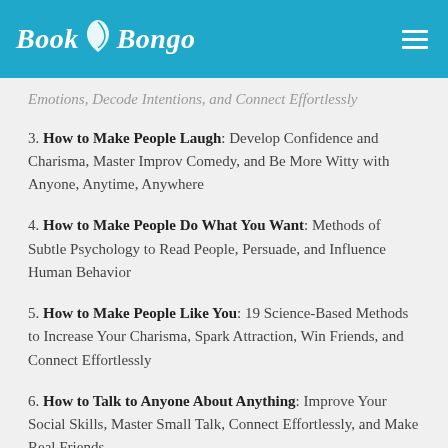Book Bongo
Emotions, Decode Intentions, and Connect Effortlessly
3. How to Make People Laugh: Develop Confidence and Charisma, Master Improv Comedy, and Be More Witty with Anyone, Anytime, Anywhere
4. How to Make People Do What You Want: Methods of Subtle Psychology to Read People, Persuade, and Influence Human Behavior
5. How to Make People Like You: 19 Science-Based Methods to Increase Your Charisma, Spark Attraction, Win Friends, and Connect Effortlessly
6. How to Talk to Anyone About Anything: Improve Your Social Skills, Master Small Talk, Connect Effortlessly, and Make Real Friends...